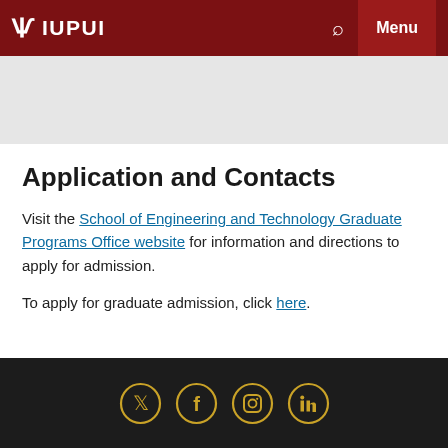IUPUI
Application and Contacts
Visit the School of Engineering and Technology Graduate Programs Office website for information and directions to apply for admission.
To apply for graduate admission, click here.
Social media icons: Twitter, Facebook, Instagram, LinkedIn